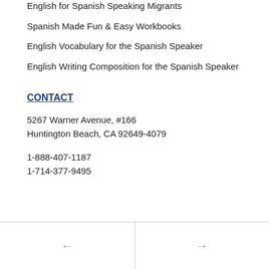English for Spanish Speaking Migrants
Spanish Made Fun & Easy Workbooks
English Vocabulary for the Spanish Speaker
English Writing Composition for the Spanish Speaker
CONTACT
5267 Warner Avenue, #166
Huntington Beach, CA 92649-4079
1-888-407-1187
1-714-377-9495
← →